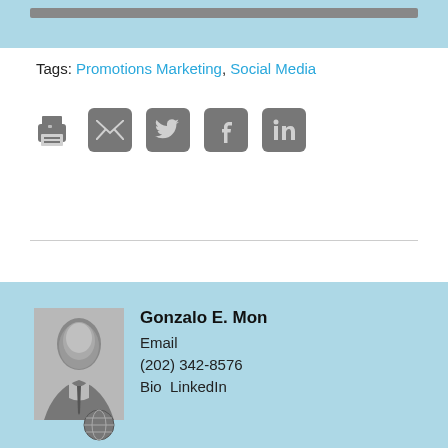[Figure (other): Top light blue banner with a dark gray bar element at the top]
Tags: Promotions Marketing, Social Media
[Figure (other): Row of social sharing icons: printer, email, Twitter, Facebook, LinkedIn]
Gonzalo E. Mon
Email
(202) 342-8576
Bio  LinkedIn
[Figure (photo): Black and white headshot photo of Gonzalo E. Mon in suit and tie]
[Figure (other): Globe/world icon at bottom of author card]